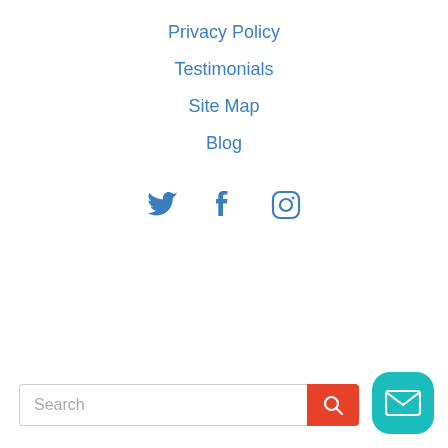Privacy Policy
Testimonials
Site Map
Blog
[Figure (infographic): Social media icons: Twitter bird, Facebook f, Instagram camera outline, in blue]
[Figure (infographic): Search bar with placeholder text 'Search', red search button with magnifier icon, and teal mail/envelope button]